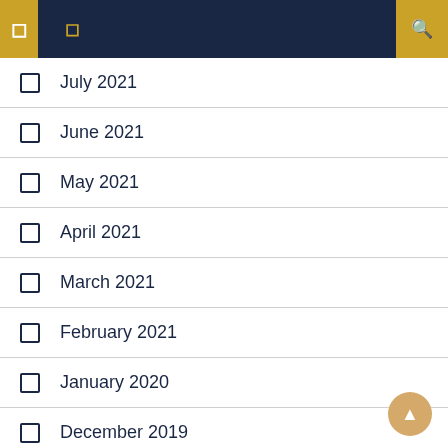Navigation header with icons
July 2021
June 2021
May 2021
April 2021
March 2021
February 2021
January 2020
December 2019
November 2019
October 2019